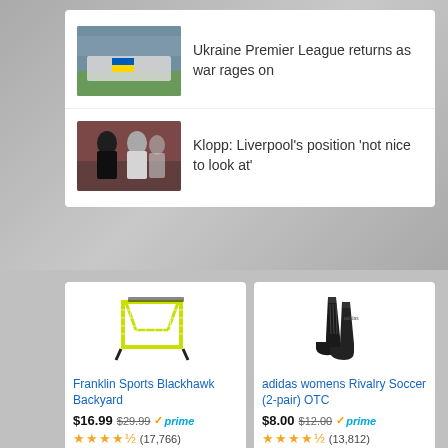[Figure (photo): News item: soccer players holding Ukrainian flag on field, team group photo]
Ukraine Premier League returns as war rages on
[Figure (photo): News item: Klopp with Liverpool players at training or match]
Klopp: Liverpool’s position ‘not nice to look at’
[Figure (photo): Product: Franklin Sports Blackhawk Backyard soccer goal with yellow netting]
Franklin Sports Blackhawk Backyard
$16.99 $29.99 ✓prime ★★★★½ (17,766)
[Figure (photo): Product: adidas black womens soccer socks OTC]
adidas womens Rivalry Soccer (2-pair) OTC
$8.00 $12.00 ✓prime ★★★★½ (13,812)